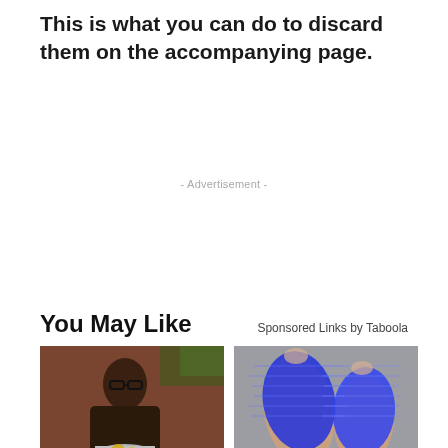This is what you can do to discard them on the accompanying page.
- Advertisement -
You May Like
Sponsored Links by Taboola
[Figure (photo): Man with glasses holding a pot of lemon slices]
[Figure (photo): Close-up of fingers wrapped in blue mesh/bandage material]